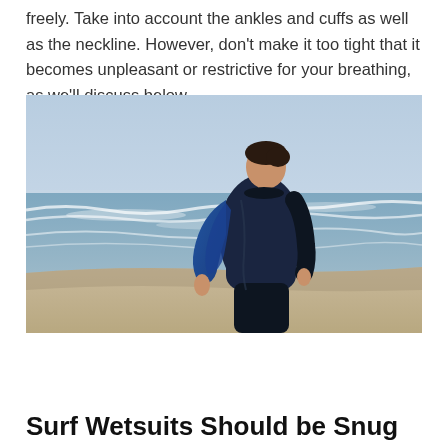freely. Take into account the ankles and cuffs as well as the neckline. However, don't make it too tight that it becomes unpleasant or restrictive for your breathing, as we'll discuss below.
[Figure (photo): A man wearing a dark navy and blue wetsuit standing on a beach, viewed from behind and slightly to the side, looking out at the ocean with waves in the background.]
Surf Wetsuits Should be Snug